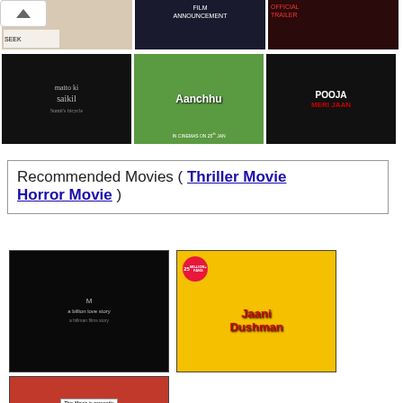[Figure (screenshot): Row of 3 movie thumbnail images at top - partial view: a light-colored thumbnail, a dark film announcement thumbnail, and a red/dark official trailer thumbnail]
[Figure (screenshot): Row of 3 movie thumbnail images - Matto Ki Saikil (black bg with white text), Aanchhu (colorful Bollywood poster), Pooja Meri Jaan (black bg with white/red text)]
Recommended Movies ( Thriller Movie Horror Movie )
[Figure (screenshot): Dark thriller movie thumbnail]
[Figure (screenshot): Jaani Dushman - yellow Bollywood movie poster with 25 Million+ Fans badge]
[Figure (screenshot): This Movie is presently not available - Want to watch it? Check it out - BollywoodProject.com]